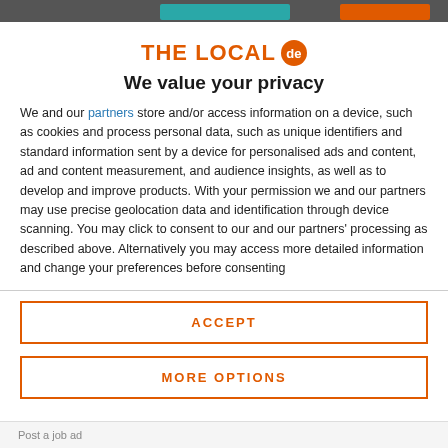[Figure (logo): THE LOCAL de logo in orange with circular badge]
We value your privacy
We and our partners store and/or access information on a device, such as cookies and process personal data, such as unique identifiers and standard information sent by a device for personalised ads and content, ad and content measurement, and audience insights, as well as to develop and improve products. With your permission we and our partners may use precise geolocation data and identification through device scanning. You may click to consent to our and our partners' processing as described above. Alternatively you may access more detailed information and change your preferences before consenting
ACCEPT
MORE OPTIONS
Post a job ad